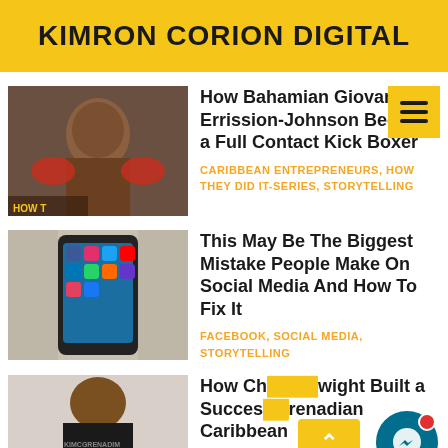KIMRON CORION DIGITAL
[Figure (photo): Photo of a Bahamian kickboxer wearing red boxing gloves, shirtless, in a gym setting. Text 'HOW T' partially visible.]
How Bahamian Giovanni Errission-Johnson Became a Full Contact Kick Boxer
CARIBBEAN ENTREPRENEURS, HOW THEY DID IT-SERIES, STORYTELLING
[Figure (photo): Photo of a hand holding a smartphone displaying social media app icons on the screen.]
This May Be The Biggest Mistake People Make On Social Media And How To Fix It
FACEBOOK, SOCIAL MEDIA, STORYTELLING
[Figure (photo): Photo of a man wearing a dark shirt with KIMCGRENADIM text, from a Caribbean business context.]
How Ch...wight Built a Succes...renadian Caribbean Bu...